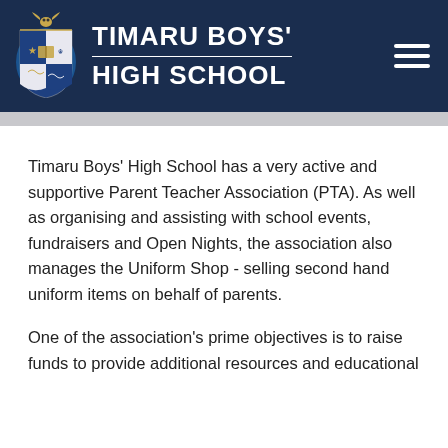[Figure (logo): Timaru Boys' High School crest/coat of arms with colorful heraldic shield]
TIMARU BOYS' HIGH SCHOOL
Timaru Boys' High School has a very active and supportive Parent Teacher Association (PTA).  As well as organising and assisting with school events, fundraisers and Open Nights, the association also manages the Uniform Shop - selling second hand uniform items on behalf of parents.
One of the association's prime objectives is to raise funds to provide additional resources and educational